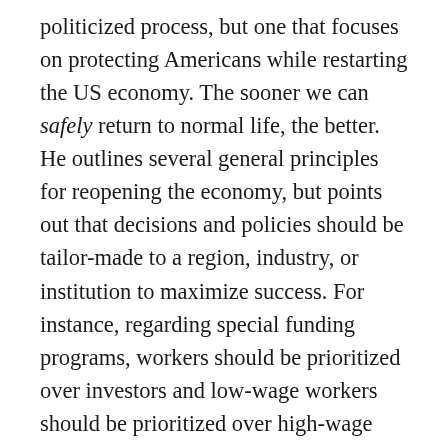politicized process, but one that focuses on protecting Americans while restarting the US economy. The sooner we can safely return to normal life, the better. He outlines several general principles for reopening the economy, but points out that decisions and policies should be tailor-made to a region, industry, or institution to maximize success. For instance, regarding special funding programs, workers should be prioritized over investors and low-wage workers should be prioritized over high-wage workers. In general, lenders can afford to wait for their money, whereas workers and suppliers cannot. Given that a large chunk of white-collar workers can work from home but many blue-collar workers lack that luxury, low-wage workers should be the first to receive help as they are more likely to have lost most, if not all, of their income under the social distancing measures. No matter what decisions are made,